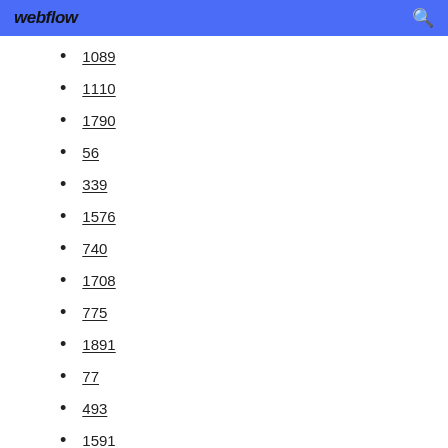webflow
1089
1110
1790
56
339
1576
740
1708
775
1891
77
493
1591